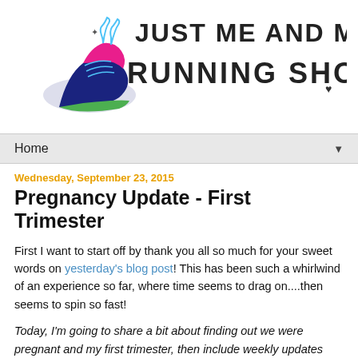[Figure (logo): Blog logo showing running shoes illustration with text 'JUST ME AND MY RUNNING SHOES...' in stylized font]
Home ▼
Wednesday, September 23, 2015
Pregnancy Update - First Trimester
First I want to start off by thank you all so much for your sweet words on yesterday's blog post! This has been such a whirlwind of an experience so far, where time seems to drag on....then seems to spin so fast!
Today, I'm going to share a bit about finding out we were pregnant and my first trimester, then include weekly updates from here on out.
Jason and I battled infertility issues. We chose to keep our